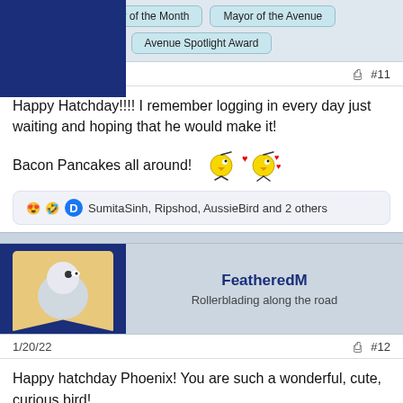[Figure (screenshot): Top section showing award badge buttons: 'Celebirdy of the Month', 'Mayor of the Avenue', 'Avenue Spotlight Award']
1/20/22   #11
Happy Hatchday!!!! I remember logging in every day just waiting and hoping that he would make it!
Bacon Pancakes all around!
😍🤣🐦 SumitaSinh, Ripshod, AussieBird and 2 others
FeatheredM
Rollerblading along the road
1/20/22   #12
Happy hatchday Phoenix! You are such a wonderful, cute, curious bird!